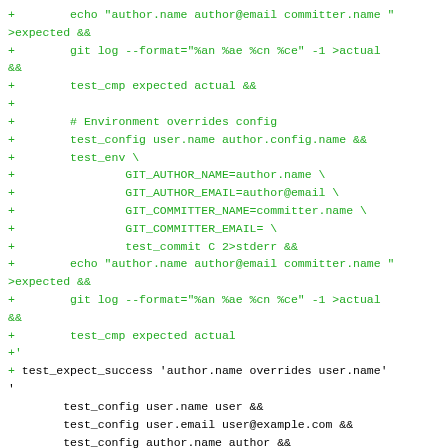Code diff showing git test script with added lines (green) and removed lines (red) involving test_config, test_env, git log, echo, test_cmp, and test_expect_success commands.